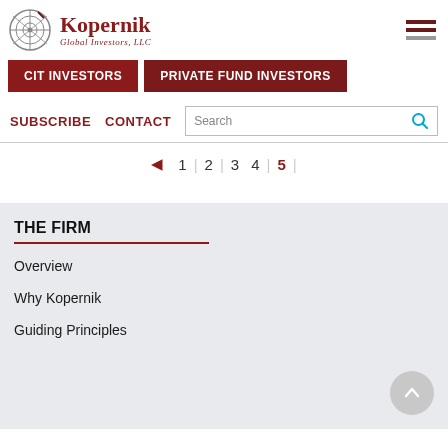Kopernik Global Investors, LLC
CIT INVESTORS
PRIVATE FUND INVESTORS
SUBSCRIBE   CONTACT
Search
◄  1  |  2  |  3  4  |  5  |
THE FIRM
Overview
Why Kopernik
Guiding Principles